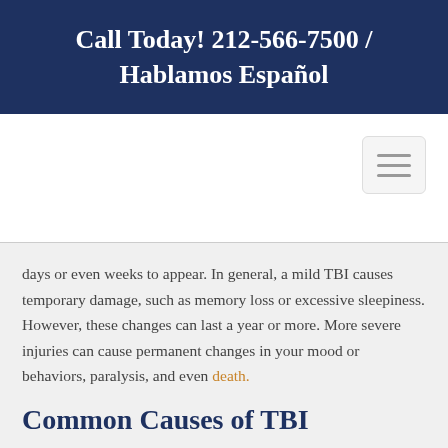Call Today! 212-566-7500 / Hablamos Español
[Figure (other): Navigation hamburger menu button icon with three horizontal lines]
days or even weeks to appear. In general, a mild TBI causes temporary damage, such as memory loss or excessive sleepiness. However, these changes can last a year or more. More severe injuries can cause permanent changes in your mood or behaviors, paralysis, and even death.
Common Causes of TBI